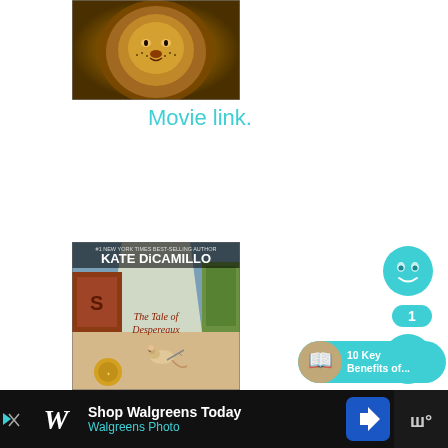[Figure (photo): Close-up of a lion's face with golden mane — movie cover image (The Chronicles of Narnia)]
Movie link.
[Figure (photo): Book cover: The Tale of Despereaux by Kate DiCamillo — #1 New York Times Best-Selling Author, showing a mouse with a sword and a gold Newbery Medal]
[Figure (other): Teal smiley-face/emoji circle icon (top)]
1
[Figure (other): Teal smiley-face/emoji circle icon (bottom)]
[Figure (other): Teal pill/banner: thumbnail image and text '10 Key Benefits of...']
[Figure (screenshot): Advertisement bar: Shop Walgreens Today / Walgreens Photo — with Walgreens W logo, navigation arrow icon, and W° logo on black background]